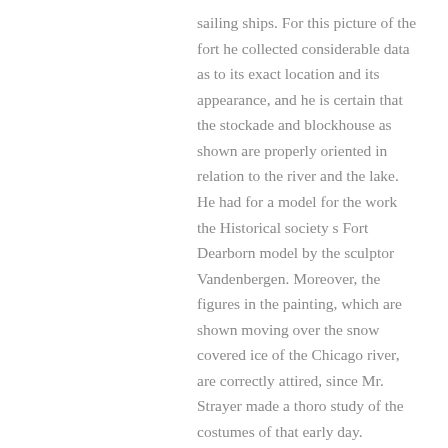sailing ships. For this picture of the fort he collected considerable data as to its exact location and its appearance, and he is certain that the stockade and blockhouse as shown are properly oriented in relation to the river and the lake. He had for a model for the work the Historical society s Fort Dearborn model by the sculptor Vandenbergen. Moreover, the figures in the painting, which are shown moving over the snow covered ice of the Chicago river, are correctly attired, since Mr. Strayer made a thoro study of the costumes of that early day.
Mr. Strayer obtained his academic training In art at the Art Institute of